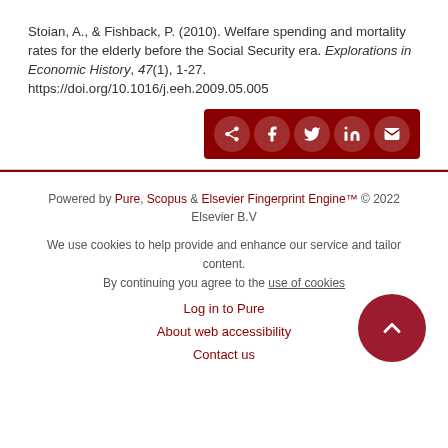Stoian, A., & Fishback, P. (2010). Welfare spending and mortality rates for the elderly before the Social Security era. Explorations in Economic History, 47(1), 1-27. https://doi.org/10.1016/j.eeh.2009.05.005
[Figure (other): Dark red share bar with share, Facebook, Twitter, LinkedIn, and email icon buttons]
Powered by Pure, Scopus & Elsevier Fingerprint Engine™ © 2022 Elsevier B.V
We use cookies to help provide and enhance our service and tailor content. By continuing you agree to the use of cookies
Log in to Pure
About web accessibility
Contact us